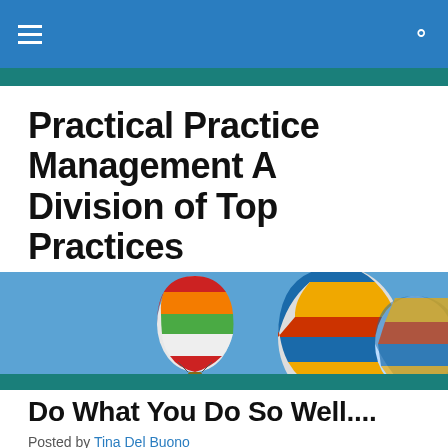Practical Practice Management A Division of Top Practices
Practical Practice Management A Division of Top Practices
Change Your Mindset, Change Your Life
[Figure (photo): Hot air balloons floating in a blue sky with a teal stripe at the bottom]
Do What You Do So Well....
Posted by Tina Del Buono